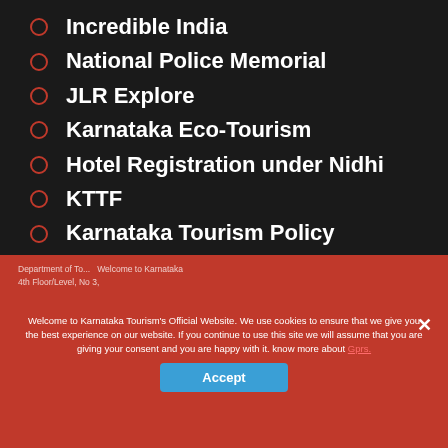Incredible India
National Police Memorial
JLR Explore
Karnataka Eco-Tourism
Hotel Registration under Nidhi
KTTF
Karnataka Tourism Policy
Welcome to Karnataka Tourism's Official Website. We use cookies to ensure that we give you the best experience on our website. If you continue to use this site we will assume that you are giving your consent and you are happy with it. know more about Gprs. Department of Tourism, Welcome to Karnataka 4th Floor/Level, No 3,
Accept